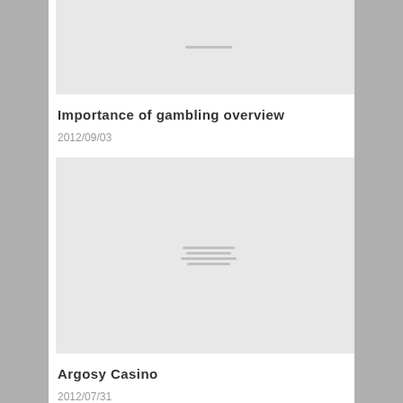[Figure (photo): Placeholder image thumbnail (partially visible at top), gray background with faint horizontal lines in center]
Importance of gambling overview
2012/09/03
[Figure (photo): Placeholder image thumbnail, gray background with four horizontal lines of varying width centered]
Argosy Casino
2012/07/31